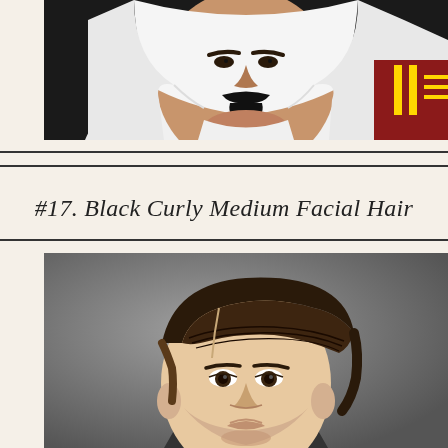[Figure (photo): Close-up photo of a man wearing a white headscarf (keffiyeh) with a black goatee/mustache, wearing military uniform with red and gold decorations visible on the right side. Dark background.]
#17. Black Curly Medium Facial Hair
[Figure (photo): Close-up photo of a young man with neatly styled dark brown hair combed to one side, clean-shaven face, shot against a grey background. Side profile angled slightly forward.]